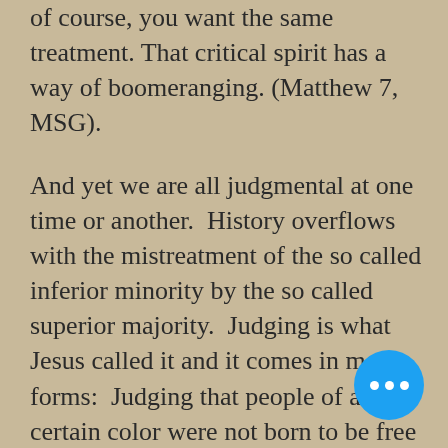of course, you want the same treatment. That critical spirit has a way of boomeranging. (Matthew 7, MSG).
And yet we are all judgmental at one time or another.  History overflows with the mistreatment of the so called inferior minority by the so called superior majority.  Judging is what Jesus called it and it comes in many forms:  Judging that people of a certain color were not born to be free but instead to be slaves.  Judging that people of a certain gender do not deserve an equal right to vote and even today, do not deserve to be paid the same as their male counterparts.  Judging that only one